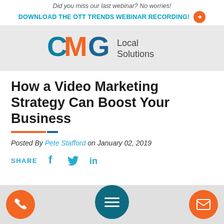Did you miss our last webinar? No worries!
DOWNLOAD THE OTT TRENDS WEBINAR RECORDING!
[Figure (logo): CMG Local Solutions logo with stylized C, M, G letters in teal/orange/blue and 'Local Solutions' text]
How a Video Marketing Strategy Can Boost Your Business
Posted By Pete Stafford on January 02, 2019
SHARE
[Figure (infographic): Bottom navigation bar with phone icon (orange circle), hamburger menu (dark teal circle), and email icon (orange circle)]